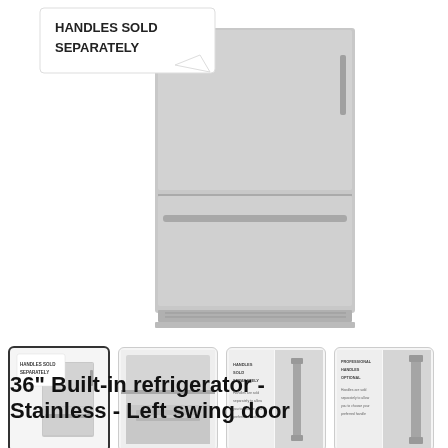[Figure (photo): Large product photo of a stainless steel built-in refrigerator with bottom freezer drawer. A white callout box in the upper left reads 'HANDLES SOLD SEPARATELY' in bold dark text.]
[Figure (photo): Thumbnail 1 (active/selected): Same refrigerator front view with 'HANDLES SOLD SEPARATELY' callout.]
[Figure (photo): Thumbnail 2: Close-up of bottom freezer drawer seal/hinge detail.]
[Figure (photo): Thumbnail 3: Split image showing text about handles on left and a close-up of a vertical bar handle on right. Text reads 'HANDLES SOLD SEPARATELY' with additional description.]
[Figure (photo): Thumbnail 4: Split image similar to thumbnail 3, showing text about professional handles on left and close-up of handle on right. Text reads 'PROFESSIONAL HANDLES OPTIONAL'.]
36" Built-in refrigerator - Stainless - Left swing door